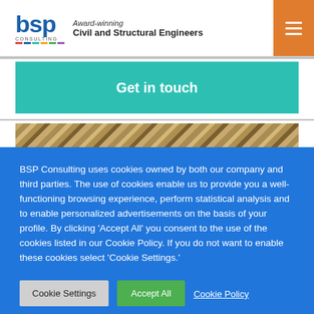[Figure (logo): BSP Consulting logo with text 'Award-winning Civil and Structural Engineers']
[Figure (other): Orange hamburger menu button in top right corner]
Get in touch
[Figure (photo): Braided rope or cable texture photo strip]
BSP Consulting uses cookies owned by both our company and third parties. The use of cookies enable us to provide you a well- functioning browsing experience, perform statistical analysis and to enable personalized advertisements on the basis of your profile. By clicking 'Accept All' you consent to the use of the cookies listed in our Cookie Policy. If you do not want to enable these cookies select 'Cookie Settings.'
Cookie Settings
Accept All
Cookie Policy